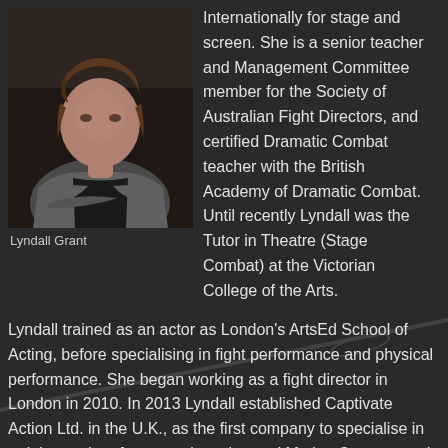[Figure (photo): Headshot of Lyndall Grant, a woman with brown wavy hair, wearing a grey cardigan and black top, arms crossed, against a dark background.]
Lyndall Grant
Internationally for stage and screen. She is a senior teacher and Management Committee member for the Society of Australian Fight Directors, and certified Dramatic Combat teacher with the British Academy of Dramatic Combat. Until recently Lyndall was the Tutor in Theatre (Stage Combat) at the Victorian College of the Arts. Lyndall trained as an actor as London's ArtsEd School of Acting, before specialising in fight performance and physical performance. She began working as a fight director in London in 2010. In 2013 Lyndall established Captivate Action Ltd. in the U.K., as the first company to specialise in training and performance in action and Motion Capture, and brought this company home to Australia in 2015. Lyndall has been an actor and Movement Captain in Melbourne's production of Harry Potter and the Cursed Child from its opening in 2019 until 2022.